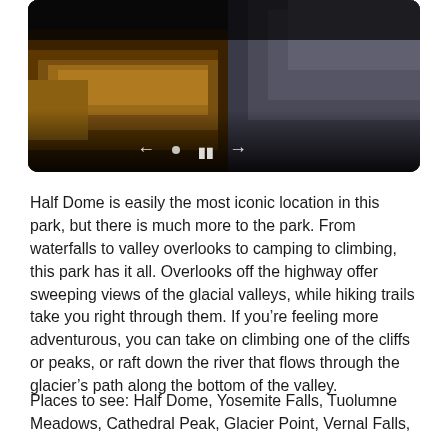[Figure (photo): A nature photograph showing gnarled driftwood logs with textured bark in golden-brown and orange tones on the left, and rocky mountainous terrain in dark gray tones on the right. The photo is displayed in a rounded dark-framed container with playback controls (left arrow, dot, pause button, right arrow) visible at the bottom center.]
Half Dome is easily the most iconic location in this park, but there is much more to the park. From waterfalls to valley overlooks to camping to climbing, this park has it all. Overlooks off the highway offer sweeping views of the glacial valleys, while hiking trails take you right through them. If you’re feeling more adventurous, you can take on climbing one of the cliffs or peaks, or raft down the river that flows through the glacier’s path along the bottom of the valley.
Places to see: Half Dome, Yosemite Falls, Tuolumne Meadows, Cathedral Peak, Glacier Point, Vernal Falls,